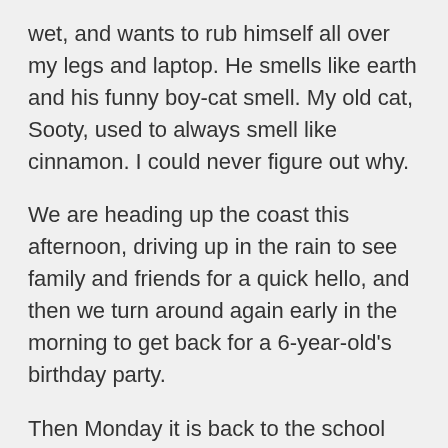wet, and wants to rub himself all over my legs and laptop. He smells like earth and his funny boy-cat smell. My old cat, Sooty, used to always smell like cinnamon. I could never figure out why.
We are heading up the coast this afternoon, driving up in the rain to see family and friends for a quick hello, and then we turn around again early in the morning to get back for a 6-year-old's birthday party.
Then Monday it is back to the school routine, and back to my writing routine. This term I am going to make a point of not turning my upstairs laptop on until I've finished my daily writing goals. (The computer downstairs is so